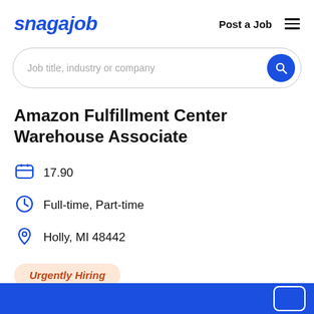snagajob   Post a Job
Job title, industry or company
Amazon Fulfillment Center Warehouse Associate
17.90
Full-time, Part-time
Holly, MI 48442
Urgently Hiring